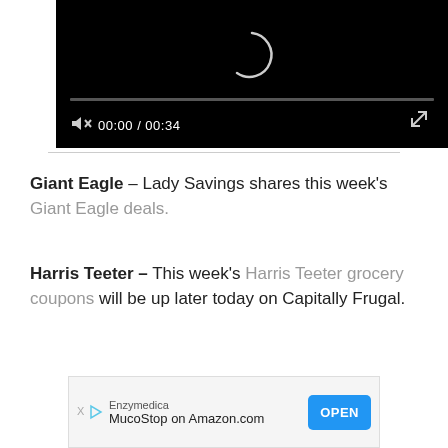[Figure (screenshot): Video player with black background, loading spinner, progress bar, muted icon, time display 00:00 / 00:34, and fullscreen button]
Giant Eagle – Lady Savings shares this week's Giant Eagle deals.
Harris Teeter – This week's Harris Teeter grocery coupons will be up later today on Capitally Frugal.
[Figure (screenshot): Advertisement banner for Enzymedica MucoStop on Amazon.com with an OPEN button]